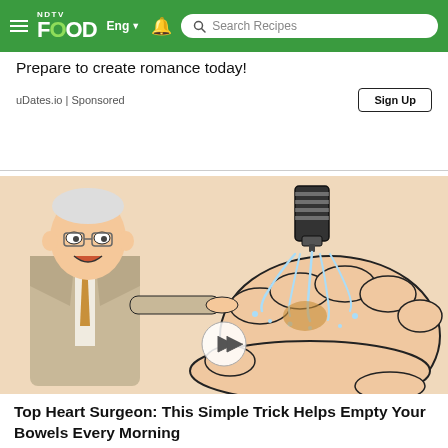NDTV FOOD Eng | Search Recipes
Prepare to create romance today!
uDates.io | Sponsored
[Figure (illustration): Illustration of an elderly man in a suit pointing at a cartoon hand being washed with water from a bottle/shower head. The image advertises a heart surgeon bowel health trick.]
Top Heart Surgeon: This Simple Trick Helps Empty Your Bowels Every Morning